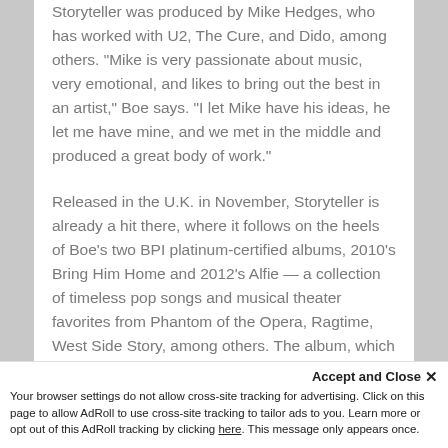Storyteller was produced by Mike Hedges, who has worked with U2, The Cure, and Dido, among others. "Mike is very passionate about music, very emotional, and likes to bring out the best in an artist," Boe says. "I let Mike have his ideas, he let me have mine, and we met in the middle and produced a great body of work."
Released in the U.K. in November, Storyteller is already a hit there, where it follows on the heels of Boe's two BPI platinum-certified albums, 2010's Bring Him Home and 2012's Alfie — a collection of timeless pop songs and musical theater favorites from Phantom of the Opera, Ragtime, West Side Story, among others. The album, which features special guests Robert Plant and Nick Jonas, debuted at No. 1 on Billboard's Classical Crossover Chart...
Accept and Close ×
Your browser settings do not allow cross-site tracking for advertising. Click on this page to allow AdRoll to use cross-site tracking to tailor ads to you. Learn more or opt out of this AdRoll tracking by clicking here. This message only appears once.